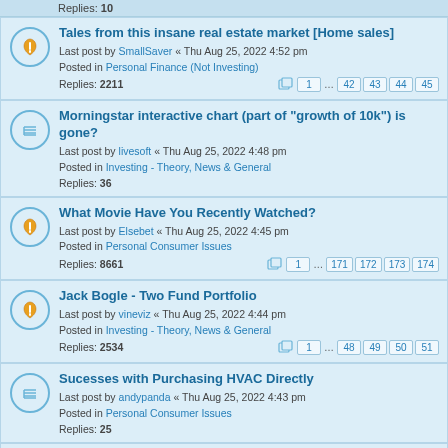Replies: 10
Tales from this insane real estate market [Home sales]
Last post by SmallSaver « Thu Aug 25, 2022 4:52 pm
Posted in Personal Finance (Not Investing)
Replies: 2211
Pages: 1 ... 42 43 44 45
Morningstar interactive chart (part of "growth of 10k") is gone?
Last post by livesoft « Thu Aug 25, 2022 4:48 pm
Posted in Investing - Theory, News & General
Replies: 36
What Movie Have You Recently Watched?
Last post by Elsebet « Thu Aug 25, 2022 4:45 pm
Posted in Personal Consumer Issues
Replies: 8661
Pages: 1 ... 171 172 173 174
Jack Bogle - Two Fund Portfolio
Last post by vineviz « Thu Aug 25, 2022 4:44 pm
Posted in Investing - Theory, News & General
Replies: 2534
Pages: 1 ... 48 49 50 51
Sucesses with Purchasing HVAC Directly
Last post by andypanda « Thu Aug 25, 2022 4:43 pm
Posted in Personal Consumer Issues
Replies: 25
Has anyone been able to call Vanguard today?
Last post by runner3081 « Thu Aug 25, 2022 4:41 pm
Posted in Investing - Theory, News & General
Replies: 4